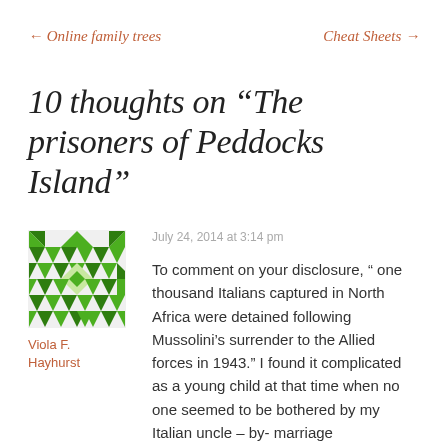← Online family trees    Cheat Sheets →
10 thoughts on “The prisoners of Peddocks Island”
[Figure (illustration): Green decorative quilt-pattern avatar icon for user Viola F. Hayhurst]
Viola F. Hayhurst
July 24, 2014 at 3:14 pm
To comment on your disclosure, ” one thousand Italians captured in North Africa were detained following Mussolini’s surrender to the Allied forces in 1943.” I found it complicated as a young child at that time when no one seemed to be bothered by my Italian uncle – by- marriage